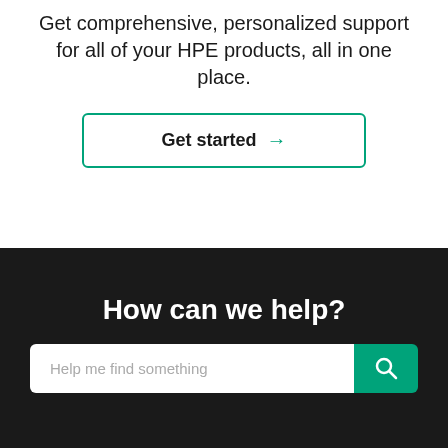Get comprehensive, personalized support for all of your HPE products, all in one place.
[Figure (other): A 'Get started' button with a teal arrow, outlined in teal/green border on white background]
How can we help?
[Figure (other): Search bar with placeholder 'Help me find something' and teal search button with magnifying glass icon]